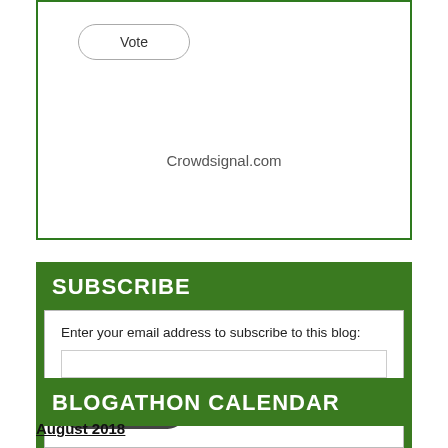[Figure (other): Poll box with a Vote button and Crowdsignal.com attribution at the bottom]
SUBSCRIBE
Enter your email address to subscribe to this blog:
BLOGATHON CALENDAR
August 2018
26th August – Often Off Topic's Dog Day Blogathon